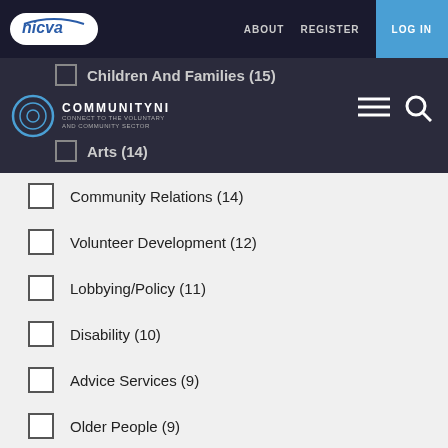nicva | ABOUT  REGISTER  LOG IN
Children And Families (15)
Arts (14)
Community Relations (14)
Volunteer Development (12)
Lobbying/Policy (11)
Disability (10)
Advice Services (9)
Older People (9)
Sport/Recreation (8)
Environment And Built Heritage (6)
Race/Ethnicity (6)
Carers (2)